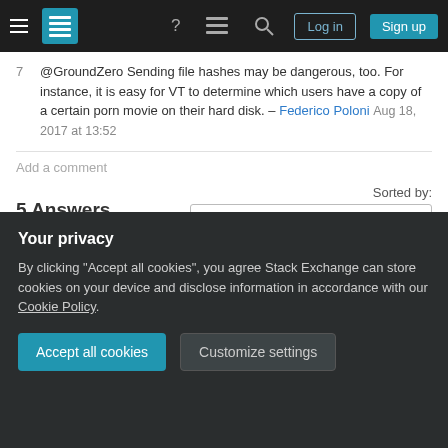[Figure (screenshot): Stack Exchange navigation bar with hamburger menu, logo, help, chat, search icons, and Log in / Sign up buttons]
@GroundZero Sending file hashes may be dangerous, too. For instance, it is easy for VT to determine which users have a copy of a certain porn movie on their hard disk. – Federico Poloni Aug 18, 2017 at 13:52
Add a comment
5 Answers
Sorted by:
Highest score (default)
Paid subscribes to virustotal can download files uploaded by others. If you consider this still safe for
Your privacy
By clicking "Accept all cookies", you agree Stack Exchange can store cookies on your device and disclose information in accordance with our Cookie Policy.
Accept all cookies
Customize settings
scanning, we may store it and share it with